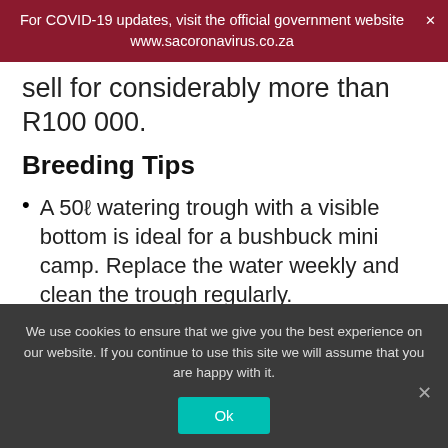For COVID-19 updates, visit the official government website www.sacoronavirus.co.za
sell for considerably more than R100 000.
Breeding Tips
A 50ℓ watering trough with a visible bottom is ideal for a bushbuck mini camp. Replace the water weekly and clean the trough regularly.
A properly cared-for bushbuck ewe can easily reach 15 years of age in captivity and produce at least 18 lambs. In a stressed habitat, she will not…
We use cookies to ensure that we give you the best experience on our website. If you continue to use this site we will assume that you are happy with it.